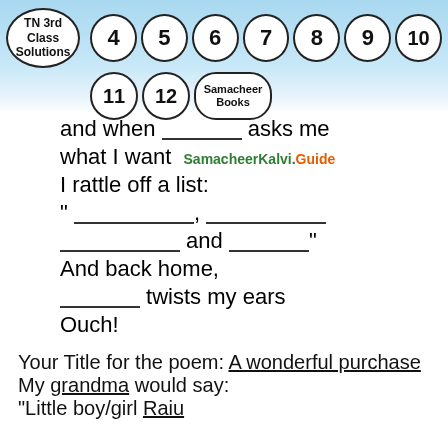[Figure (other): Navigation header banner with TN 3rd Class Solutions logo and numbered circles (4,5,6,7,8,9,10,11,12) and Samacheer Books circle on light blue gradient background]
and when ________ asks me
what I want  SamacheerKalvi.Guide
I rattle off a list:
" _____________, ____________
____________ and __________"
And back home,
_________ twists my ears
Ouch!
Your Title for the poem: A wonderful purchase
My grandma would say:
“Little boy/girl Raiu